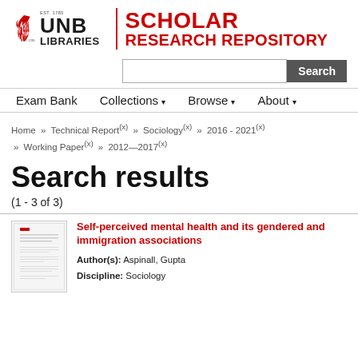[Figure (logo): UNB Libraries Scholar Research Repository logo with flame icon and red text]
Exam Bank   Collections▾   Browse▾   About▾
Home » Technical Report(x) » Sociology(x) » 2016 - 2021(x) » Working Paper(x) » 2012—2017(x)
Search results
(1 - 3 of 3)
Self-perceived mental health and its gendered and immigration associations
Author(s): Aspinall, Gupta
Discipline: Sociology